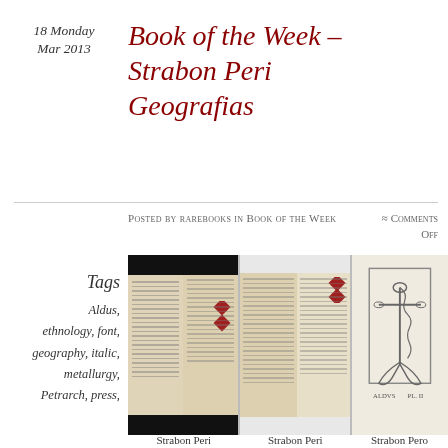18 Monday Mar 2013
Book of the Week – Strabon Peri Geografias
Posted by rarebooks in Book of the Week ≈ Comments Off
Tags
Aldus,
ethnology, font,
geography, italic,
metallurgy,
Petrarch, press,
[Figure (photo): Three panels showing pages of an old book (Strabon Peri Geografias), including spread pages with dense text and red ornamental decorations, and a panel showing an anchor illustration]
Strabon Peri    Strabon Peri    Strabon Pero